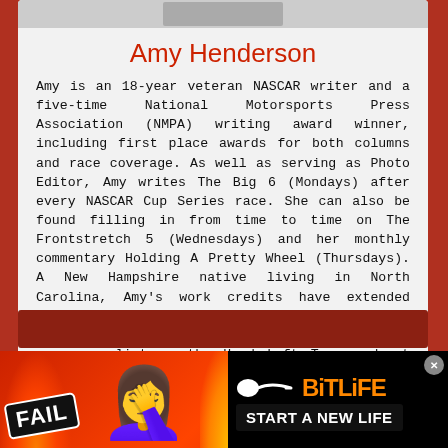[Figure (photo): Partial photo/image bar at top of white card]
Amy Henderson
Amy is an 18-year veteran NASCAR writer and a five-time National Motorsports Press Association (NMPA) writing award winner, including first place awards for both columns and race coverage. As well as serving as Photo Editor, Amy writes The Big 6 (Mondays) after every NASCAR Cup Series race. She can also be found filling in from time to time on The Frontstretch 5 (Wednesdays) and her monthly commentary Holding A Pretty Wheel (Thursdays). A New Hampshire native living in North Carolina, Amy's work credits have extended everywhere from driver Kenny Wallace's website to Athlon Sports. She can also be heard weekly as a panelist on the Hard Left Turn podcast that can be found on AccessWDUN.com's Around the Track page.
[Figure (illustration): BitLife advertisement banner at bottom: shows FAIL badge, flame graphics, emoji face, sperm icon, BitLife logo, and START A NEW LIFE text on black background]